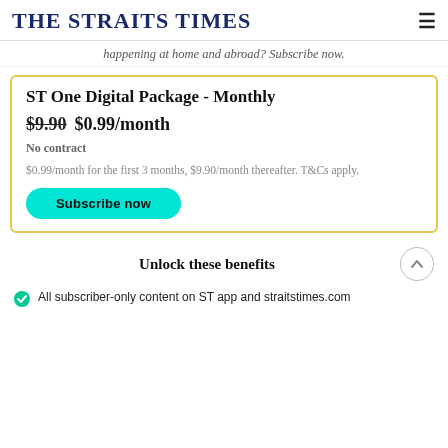THE STRAITS TIMES
happening at home and abroad? Subscribe now.
ST One Digital Package - Monthly
$9.90 $0.99/month
No contract
$0.99/month for the first 3 months, $9.90/month thereafter. T&Cs apply.
Subscribe now
Unlock these benefits
All subscriber-only content on ST app and straitstimes.com